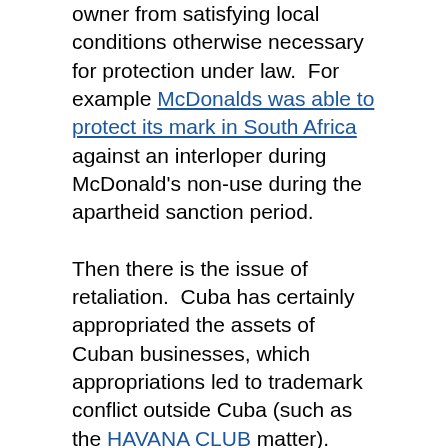owner from satisfying local conditions otherwise necessary for protection under law.  For example McDonalds was able to protect its mark in South Africa against an interloper during McDonald's non-use during the apartheid sanction period.
Then there is the issue of retaliation.  Cuba has certainly appropriated the assets of Cuban businesses, which appropriations led to trademark conflict outside Cuba (such as the HAVANA CLUB matter).  However with regard to Cuban protection of U.S. famous marks, on paper at least, Cuba now offers greater protection to U.S. marks than the other way around.  Cuba is an adherent to the Paris Convention and, in theory, would grant 6bis protection to U.S. famous trademark holders (I